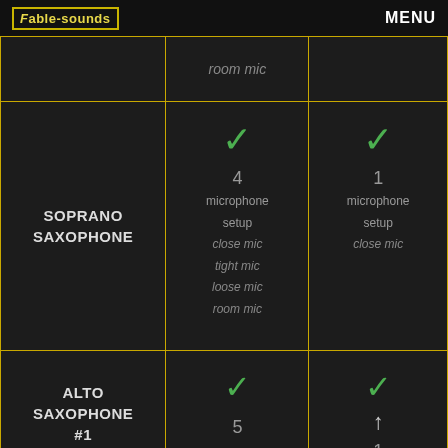Fable-sounds | MENU
|  | full version | lite version |
| --- | --- | --- |
|  | room mic | room mic |
| SOPRANO SAXOPHONE | ✓
4 microphone setup
close mic
tight mic
loose mic
room mic | ✓
1 microphone setup
close mic |
| ALTO SAXOPHONE #1 | ✓
5 | ✓
1 ↑ |